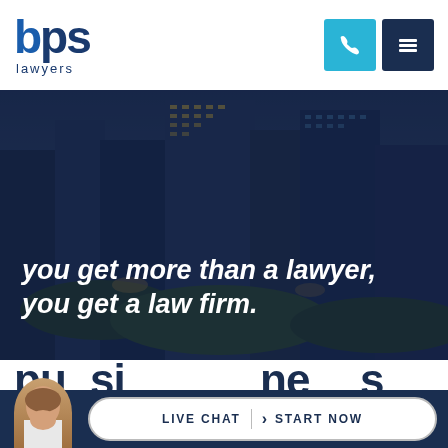[Figure (logo): BPS Lawyers logo with blue text and phone/menu icons in header]
[Figure (photo): City skyline at dusk with dark blue overlay showing office buildings and greenery]
you get more than a lawyer, you get a law firm.
pu [partially visible text, cut off]
LIVE CHAT  START NOW